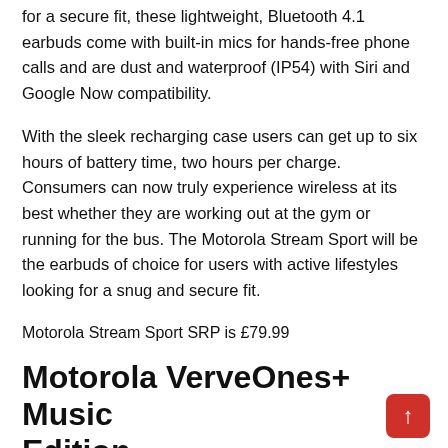for a secure fit, these lightweight, Bluetooth 4.1 earbuds come with built-in mics for hands-free phone calls and are dust and waterproof (IP54) with Siri and Google Now compatibility.
With the sleek recharging case users can get up to six hours of battery time, two hours per charge. Consumers can now truly experience wireless at its best whether they are working out at the gym or running for the bus. The Motorola Stream Sport will be the earbuds of choice for users with active lifestyles looking for a snug and secure fit.
Motorola Stream Sport SRP is £79.99
Motorola VerveOnes+ Music Edition